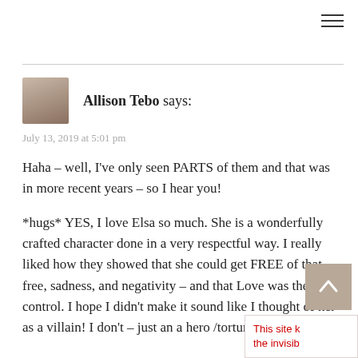[Figure (other): Hamburger menu icon (three horizontal lines) in top right corner]
[Figure (photo): Small avatar photo of Allison Tebo, a woman with short hair]
Allison Tebo says:
July 13, 2019 at 5:01 pm
Haha – well, I've only seen PARTS of them and that was in more recent years – so I hear you!
*hugs* YES, I love Elsa so much. She is a wonderfully crafted character done in a very respectful way. I really liked how they showed that she could get FREE of that free, sadness, and negativity – and that Love was the key control. I hope I didn't make it sound like I thought of her as a villain! I don't – just an a hero /tortured hero!